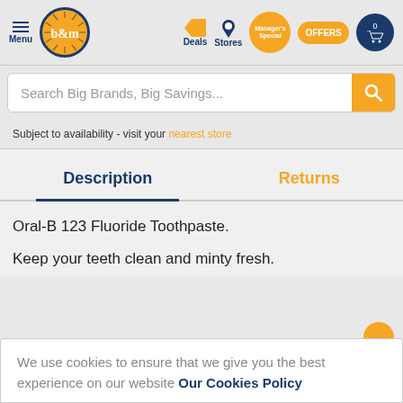B&M store navigation header with Menu, logo, Deals, Stores, Manager's Special, OFFERS, and cart icons
Search Big Brands, Big Savings...
Subject to availability - visit your nearest store
Description
Returns
Oral-B 123 Fluoride Toothpaste.
Keep your teeth clean and minty fresh.
We use cookies to ensure that we give you the best experience on our website Our Cookies Policy